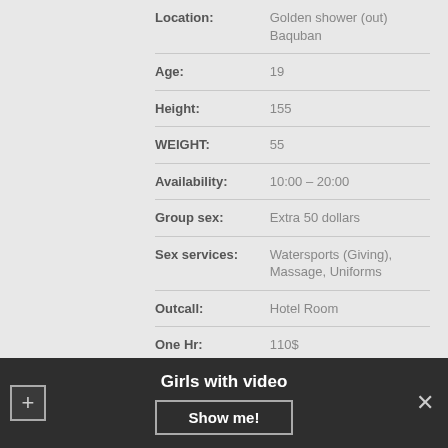| Field | Value |
| --- | --- |
| Location: | Golden shower (out) Baquban |
| Age: | 19 |
| Height: | 155 |
| WEIGHT: | 55 |
| Availability: | 10:00 – 20:00 |
| Group sex: | Extra 50 dollars |
| Sex services: | Watersports (Giving), Massage, Uniforms |
| Outcall: | Hotel Room |
| One Hr: | 110$ |
| Without condom: | 500$ |
Girls with video
Show me!